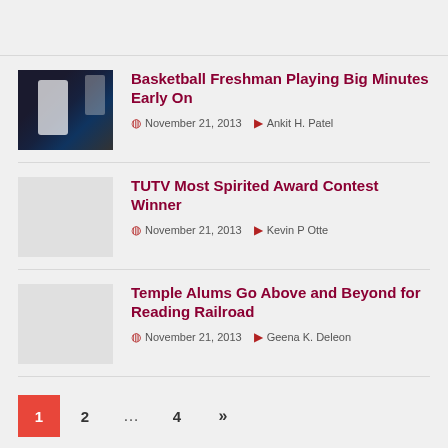Basketball Freshman Playing Big Minutes Early On — November 21, 2013 — Ankit H. Patel
TUTV Most Spirited Award Contest Winner — November 21, 2013 — Kevin P Otte
Temple Alums Go Above and Beyond for Reading Railroad — November 21, 2013 — Geena K. Deleon
1 2 … 4 »